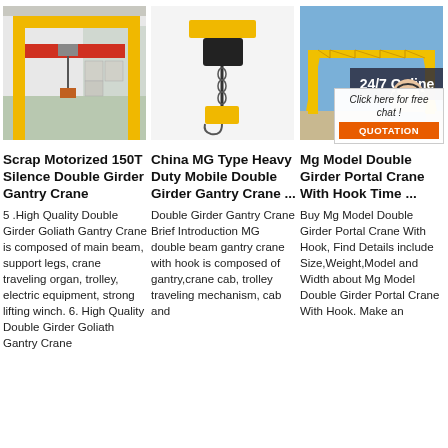[Figure (photo): Indoor yellow gantry crane with red beam in a warehouse setting]
[Figure (photo): Yellow electric chain hoist hanging against white background]
[Figure (photo): Outdoor double girder gantry crane with blue sky, 24/7 Online chat overlay with woman wearing headset]
Scrap Motorized 150T Silence Double Girder Gantry Crane
5 .High Quality Double Girder Goliath Gantry Crane is composed of main beam, support legs, crane traveling organ, trolley, electric equipment, strong lifting winch. 6. High Quality Double Girder Goliath Gantry Crane
China MG Type Heavy Duty Mobile Double Girder Gantry Crane ...
Double Girder Gantry Crane Brief Introduction MG double beam gantry crane with hook is composed of gantry,crane cab, trolley traveling mechanism, cab and
Mg Model Double Girder Portal Crane With Hook Time ...
Buy Mg Model Double Girder Portal Crane With Hook, Find Details include Size,Weight,Model and Width about Mg Model Double Girder Portal Crane With Hook. Make an